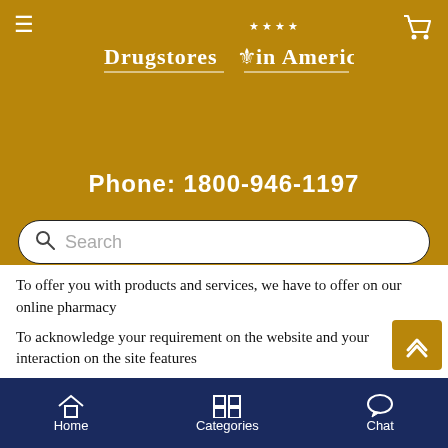Drugstores in America — Phone: 1800-946-1197
To offer you with products and services, we have to offer on our online pharmacy
To acknowledge your requirement on the website and your interaction on the site features
To enable us to have your contact information in order to update you through newsletters (if opted for), latest news on the newly introduced (ED) medications in the local or international market
For receiving your feedback on contests or discounts (when conducted) and by posting you survey questionnaires
Home   Categories   Chat